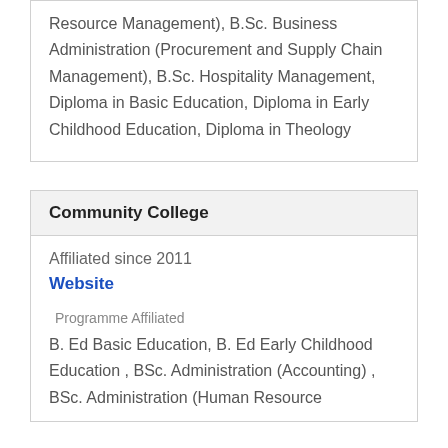Resource Management), B.Sc. Business Administration (Procurement and Supply Chain Management), B.Sc. Hospitality Management, Diploma in Basic Education, Diploma in Early Childhood Education, Diploma in Theology
Community College
Affiliated since 2011
Website
Programme Affiliated
B. Ed Basic Education, B. Ed Early Childhood Education , BSc. Administration (Accounting) , BSc. Administration (Human Resource